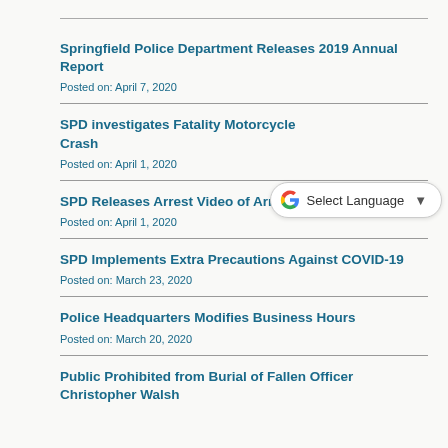Springfield Police Department Releases 2019 Annual Report
Posted on: April 7, 2020
SPD investigates Fatality Motorcycle Crash
Posted on: April 1, 2020
SPD Releases Arrest Video of Armed Suspect
Posted on: April 1, 2020
SPD Implements Extra Precautions Against COVID-19
Posted on: March 23, 2020
Police Headquarters Modifies Business Hours
Posted on: March 20, 2020
Public Prohibited from Burial of Fallen Officer Christopher Walsh